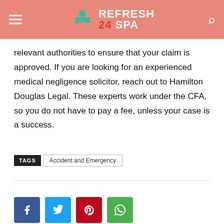REFRESH 24 SPA
relevant authorities to ensure that your claim is approved. If you are looking for an experienced medical negligence solicitor, reach out to Hamilton Douglas Legal. These experts work under the CFA, so you do not have to pay a fee, unless your case is a success.
TAGS  Accident and Emergency
[Figure (other): Social share buttons: Facebook, Twitter, Pinterest, WhatsApp]
Previous article    Next article